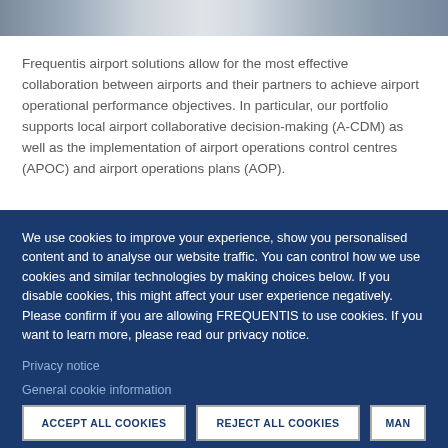[Figure (photo): Partial view of airport/engineering equipment photo strip at top of page]
Frequentis airport solutions allow for the most effective collaboration between airports and their partners to achieve airport operational performance objectives. In particular, our portfolio supports local airport collaborative decision-making (A-CDM) as well as the implementation of airport operations control centres (APOC) and airport operations plans (AOP).
We use cookies to improve your experience, show you personalised content and to analyse our website traffic. You can control how we use cookies and similar technologies by making choices below. If you disable cookies, this might affect your user experience negatively. Please confirm if you are allowing FREQUENTIS to use cookies. If you want to learn more, please read our privacy notice.
Privacy notice
General cookie information
ACCEPT ALL COOKIES
REJECT ALL COOKIES
MAN